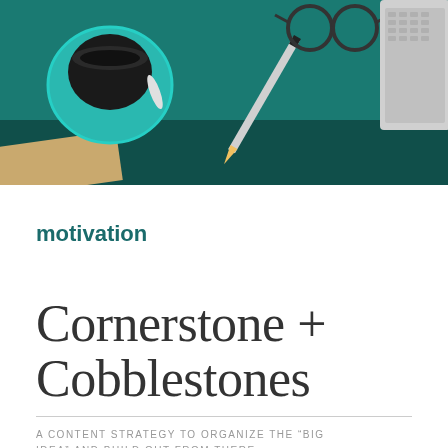[Figure (photo): Overhead flat-lay photo of a desk with a teal/green surface showing a coffee cup with saucer, a pencil, glasses, and a laptop keyboard in the corners, on a dark background.]
motivation
Cornerstone + Cobblestones
A CONTENT STRATEGY TO ORGANIZE THE “BIG IDEA” AND BUILD OUT FROM THERE.